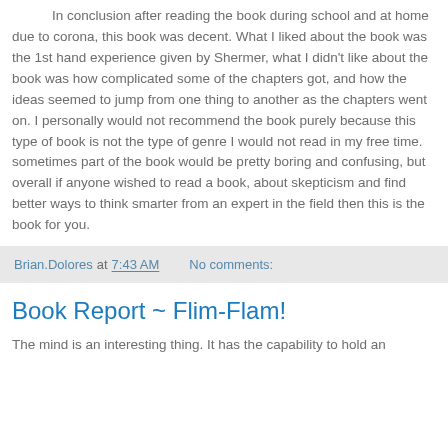In conclusion after reading the book during school and at home due to corona, this book was decent. What I liked about the book was the 1st hand experience given by Shermer, what I didn't like about the book was how complicated some of the chapters got, and how the ideas seemed to jump from one thing to another as the chapters went on. I personally would not recommend the book purely because this type of book is not the type of genre I would not read in my free time. sometimes part of the book would be pretty boring and confusing, but overall if anyone wished to read a book, about skepticism and find better ways to think smarter from an expert in the field then this is the book for you.
Brian.Dolores at 7:43 AM   No comments:
Book Report ~ Flim-Flam!
The mind is an interesting thing. It has the capability to hold an